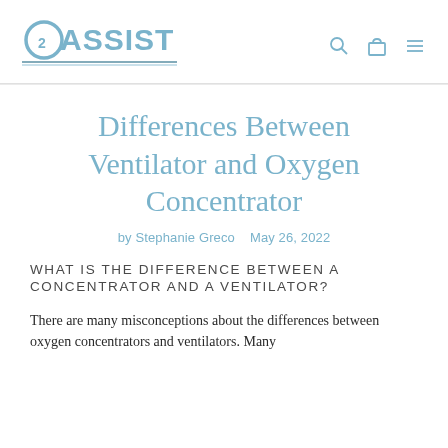O2ASSIST
Differences Between Ventilator and Oxygen Concentrator
by Stephanie Greco   May 26, 2022
WHAT IS THE DIFFERENCE BETWEEN A CONCENTRATOR AND A VENTILATOR?
There are many misconceptions about the differences between oxygen concentrators and ventilators. Many